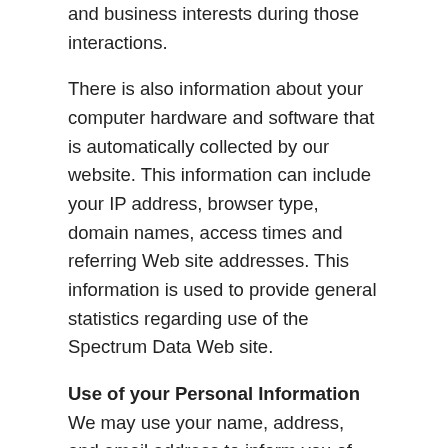and business interests during those interactions.
There is also information about your computer hardware and software that is automatically collected by our website. This information can include your IP address, browser type, domain names, access times and referring Web site addresses. This information is used to provide general statistics regarding use of the Spectrum Data Web site.
Use of your Personal Information We may use your name, address, and email address to inform you of other products or services available from Spectrum Data and our partners.
We also occasionally contact site customers to collect...